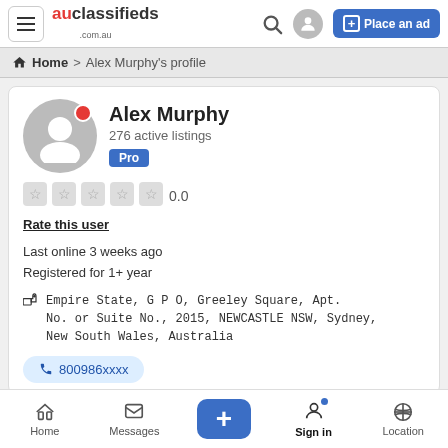auclassifieds .com.au | Search | User | Place an ad
Home > Alex Murphy's profile
Alex Murphy
276 active listings
Pro
0.0
Rate this user
Last online 3 weeks ago
Registered for 1+ year
Empire State, G P O, Greeley Square, Apt. No. or Suite No., 2015, NEWCASTLE NSW, Sydney, New South Wales, Australia
800986xxxx
Home | Messages | + | Sign in | Location